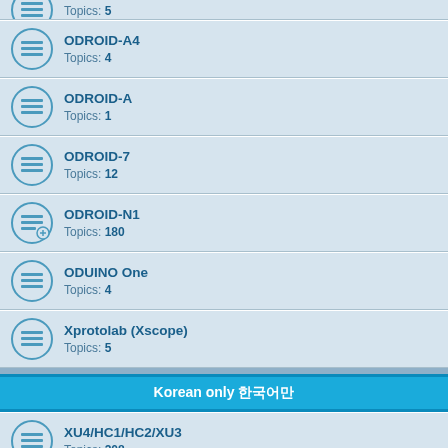Topics: 5
ODROID-A4
Topics: 4
ODROID-A
Topics: 1
ODROID-7
Topics: 12
ODROID-N1
Topics: 180
ODUINO One
Topics: 4
Xprotolab (Xscope)
Topics: 5
Korean only 한국어만
XU4/HC1/HC2/XU3
Topics: 208
N2/N2+
Topics: 505
C4/HC4
Topics: 237
M1